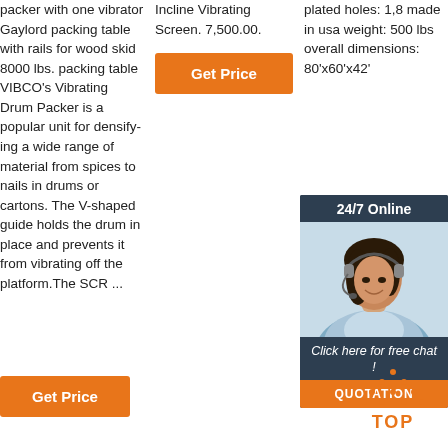packer with one vibrator Gaylord packing table with rails for wood skid 8000 lbs. packing table VIBCO's Vibrating Drum Packer is a popular unit for densify-ing a wide range of material from spices to nails in drums or cartons. The V-shaped guide holds the drum in place and prevents it from vibrating off the platform.The SCR ...
Incline Vibrating Screen. 7,500.00.
[Figure (other): Orange 'Get Price' button in column 2]
plated holes: 1,8 made in usa weight: 500 lbs overall dimensions: 80'x60'x42'
[Figure (other): 24/7 Online chat widget with woman wearing headset, 'Click here for free chat!' text, and orange QUOTATION button]
[Figure (other): Orange TOP button with dotted triangle arrow pointing up]
[Figure (other): Orange 'Get Price' button at bottom of column 1]